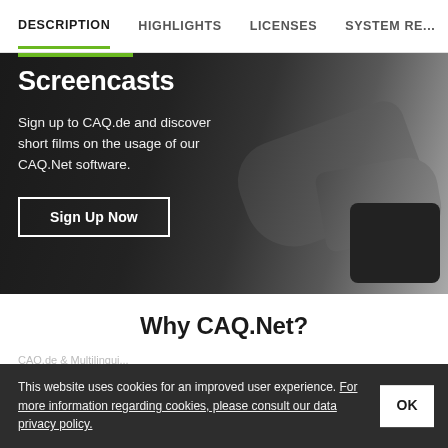DESCRIPTION  HIGHLIGHTS  LICENSES  SYSTEM RE...
Screencasts
Sign up to CAQ.de and discover short films on the usage of our CAQ.Net software.
Sign Up Now
Why CAQ.Net?
This website uses cookies for an improved user experience. For more information regarding cookies, please consult our data privacy policy.
OK